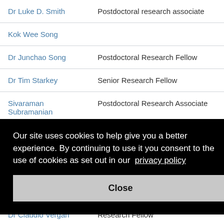| Name | Role |
| --- | --- |
| Dr Luke D. Smith | Postdoctoral research associate |
| Kok Wee Song |  |
| Dr Junchao Song | Postdoctoral Research Fellow |
| Dr Tim Starkey | Senior Research Fellow |
| Sivaraman Subramanian | Postdoctoral Research Associate |
| Dr Claudio Vergari | Research Fellow |
Our site uses cookies to help give you a better experience. By continuing to use it you consent to the use of cookies as set out in our privacy policy
Close